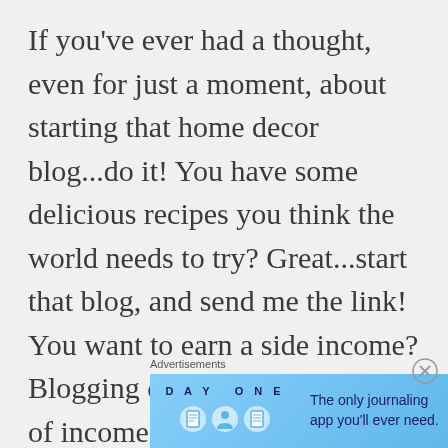If you've ever had a thought, even for just a moment, about starting that home decor blog...do it! You have some delicious recipes you think the world needs to try? Great...start that blog, and send me the link! You want to earn a side income? Blogging can be a great source of income.
Advertisements
[Figure (screenshot): Day One app advertisement banner with blue background showing DAY ONE logo text, three icons (book, person, notebook), and tagline 'The only journaling app you'll ever need.']